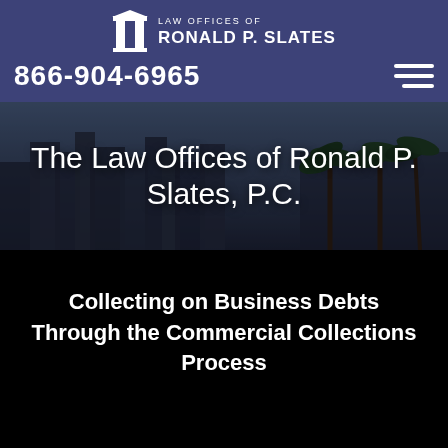[Figure (logo): Law Offices of Ronald P. Slates logo with columns icon]
866-904-6965
[Figure (photo): City skyline with palm trees background image]
The Law Offices of Ronald P. Slates, P.C.
Collecting on Business Debts Through the Commercial Collections Process